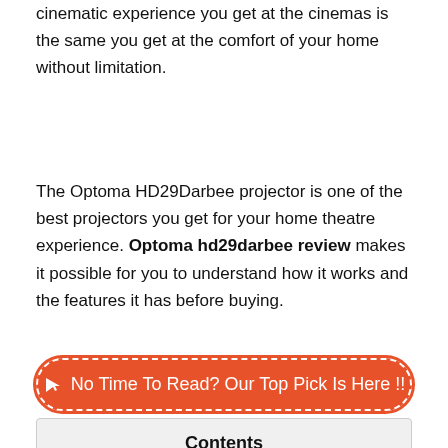cinematic experience you get at the cinemas is the same you get at the comfort of your home without limitation.
The Optoma HD29Darbee projector is one of the best projectors you get for your home theatre experience. Optoma hd29darbee review makes it possible for you to understand how it works and the features it has before buying.
[Figure (other): Orange rounded button with dashed white border and cursor arrow icon reading: No Time To Read? Our Top Pick Is Here !!]
Contents